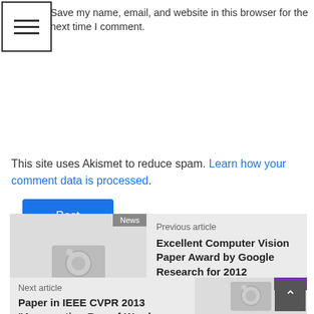Save my name, email, and website in this browser for the next time I comment.
Post Comment
This site uses Akismet to reduce spam. Learn how your comment data is processed.
News
Previous article
Excellent Computer Vision Paper Award by Google Research for 2012
June 13, 2013
[Figure (illustration): NO IMAGE AVAILABLE placeholder with camera icon]
CVPR
Next article
Paper in IEEE CVPR 2013 "Augmenting Bag-of-Words:
[Figure (illustration): NO IMAGE AVAILABLE placeholder with camera icon, partially visible]